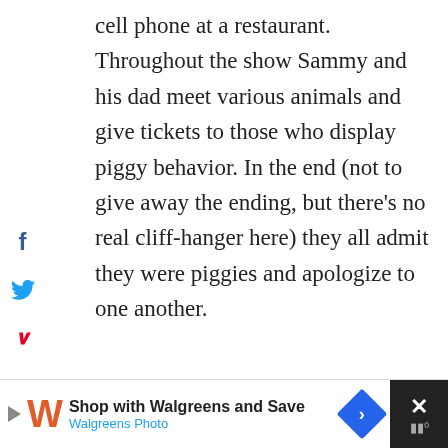cell phone at a restaurant. Throughout the show Sammy and his dad meet various animals and give tickets to those who display piggy behavior. In the end (not to give away the ending, but there's no real cliff-hanger here) they all admit they were piggies and apologize to one another.
[Figure (screenshot): Social media share buttons sidebar: Facebook (f), Twitter (bird), Pinterest (P), Yummly logo icons stacked vertically on the left side of the page]
0
SHARES
[Figure (photo): Dark night sky or dark background image with scattered white speck particles, partially visible, with a faint script/logo overlay]
[Figure (screenshot): Right side action buttons: heart/favorite button (dark blue circle with white heart), number 1, and share button (white circle with share icon)]
[Figure (screenshot): Advertisement banner at bottom: Walgreens ad with W logo, text 'Shop with Walgreens and Save' and 'Walgreens Photo', blue arrow diamond, and black close button with X]